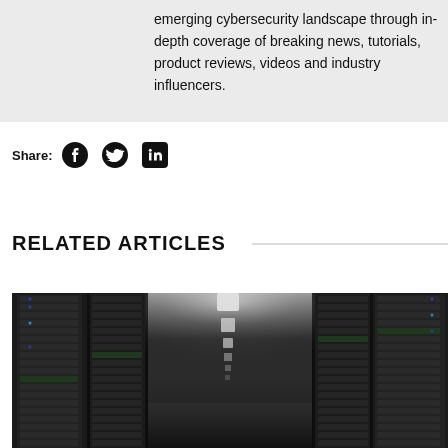emerging cybersecurity landscape through in-depth coverage of breaking news, tutorials, product reviews, videos and industry influencers.
Share:
[Figure (illustration): Social media share icons: Facebook, Twitter, LinkedIn]
RELATED ARTICLES
[Figure (photo): Dark server room corridor with rows of server racks and overhead lighting]